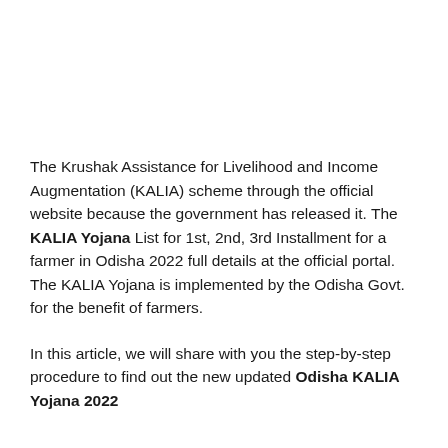The Krushak Assistance for Livelihood and Income Augmentation (KALIA) scheme through the official website because the government has released it. The KALIA Yojana List for 1st, 2nd, 3rd Installment for a farmer in Odisha 2022 full details at the official portal. The KALIA Yojana is implemented by the Odisha Govt. for the benefit of farmers.
In this article, we will share with you the step-by-step procedure to find out the new updated Odisha KALIA Yojana 2022